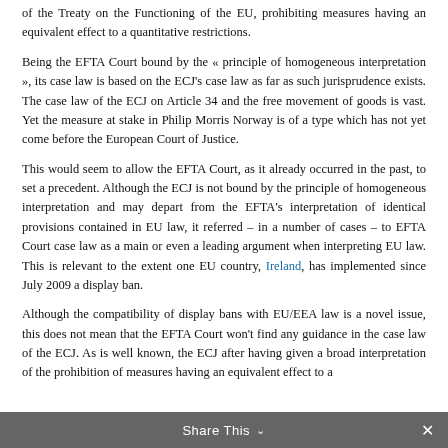of the Treaty on the Functioning of the EU, prohibiting measures having an equivalent effect to a quantitative restrictions.
Being the EFTA Court bound by the « principle of homogeneous interpretation », its case law is based on the ECJ's case law as far as such jurisprudence exists. The case law of the ECJ on Article 34 and the free movement of goods is vast. Yet the measure at stake in Philip Morris Norway is of a type which has not yet come before the European Court of Justice.
This would seem to allow the EFTA Court, as it already occurred in the past, to set a precedent. Although the ECJ is not bound by the principle of homogeneous interpretation and may depart from the EFTA's interpretation of identical provisions contained in EU law, it referred – in a number of cases – to EFTA Court case law as a main or even a leading argument when interpreting EU law. This is relevant to the extent one EU country, Ireland, has implemented since July 2009 a display ban.
Although the compatibility of display bans with EU/EEA law is a novel issue, this does not mean that the EFTA Court won't find any guidance in the case law of the ECJ. As is well known, the ECJ after having given a broad interpretation of the prohibition of measures having an equivalent effect to a
Share This